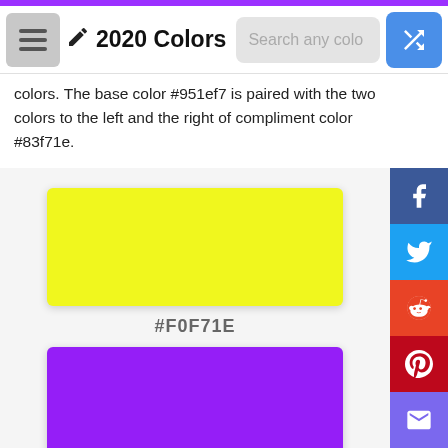2020 Colors — Search any color — navigation bar
colors. The base color #951ef7 is paired with the two colors to the left and the right of compliment color #83f71e.
[Figure (other): Yellow color swatch #F0F71E]
#F0F71E
[Figure (other): Purple color swatch #951EF7]
#951EF7
[Figure (other): Green color swatch (partially visible)]